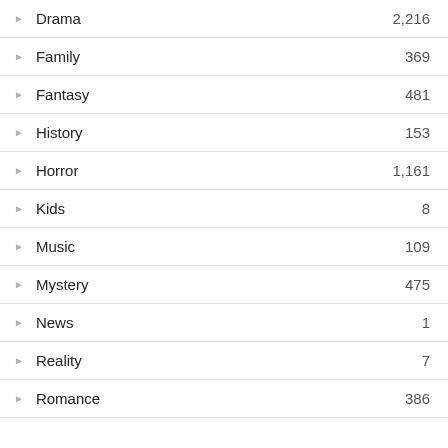Drama — 2,216
Family — 369
Fantasy — 481
History — 153
Horror — 1,161
Kids — 8
Music — 109
Mystery — 475
News — 1
Reality — 7
Romance — 386